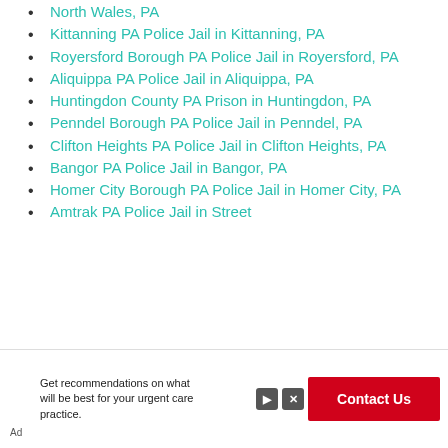North Wales, PA
Kittanning PA Police Jail in Kittanning, PA
Royersford Borough PA Police Jail in Royersford, PA
Aliquippa PA Police Jail in Aliquippa, PA
Huntingdon County PA Prison in Huntingdon, PA
Penndel Borough PA Police Jail in Penndel, PA
Clifton Heights PA Police Jail in Clifton Heights, PA
Bangor PA Police Jail in Bangor, PA
Homer City Borough PA Police Jail in Homer City, PA
Amtrak PA Police Jail in Street
[Figure (other): Advertisement banner: Get recommendations on what will be best for your urgent care practice. Contact Us button in red.]